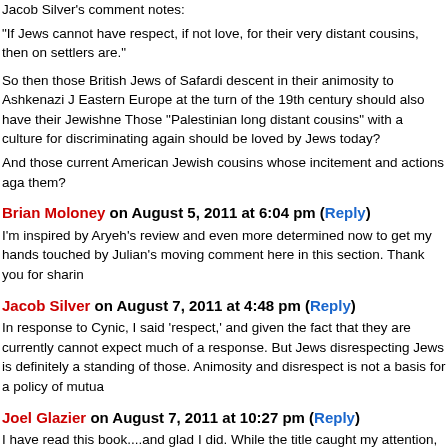Jacob Silver's comment notes:
"If Jews cannot have respect, if not love, for their very distant cousins, then on settlers are."
So then those British Jews of Safardi descent in their animosity to Ashkenazi J Eastern Europe at the turn of the 19th century should also have their Jewishne Those "Palestinian long distant cousins" with a culture for discriminating again should be loved by Jews today?
And those current American Jewish cousins whose incitement and actions aga them?
Brian Moloney on August 5, 2011 at 6:04 pm (Reply)
I'm inspired by Aryeh's review and even more determined now to get my hands touched by Julian's moving comment here in this section. Thank you for sharin
Jacob Silver on August 7, 2011 at 4:48 pm (Reply)
In response to Cynic, I said 'respect,' and given the fact that they are currently cannot expect much of a response. But Jews disrespecting Jews is definitely a standing of those. Animosity and disrespect is not a basis for a policy of mutua
Joel Glazier on August 7, 2011 at 10:27 pm (Reply)
I have read this book....and glad I did. While the title caught my attention, as I connection (non fiction are preferred), I can't say I can read any great percenta